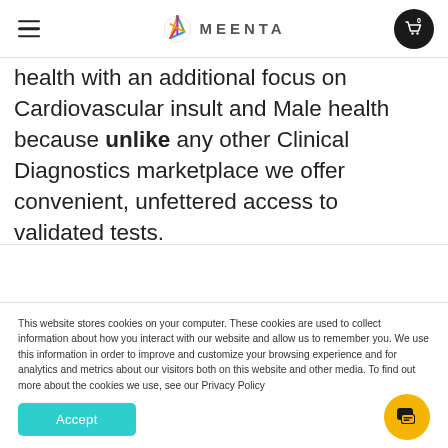MEENTA
health with an additional focus on Cardiovascular insult and Male health because unlike any other Clinical Diagnostics marketplace we offer convenient, unfettered access to validated tests.
This website stores cookies on your computer. These cookies are used to collect information about how you interact with our website and allow us to remember you. We use this information in order to improve and customize your browsing experience and for analytics and metrics about our visitors both on this website and other media. To find out more about the cookies we use, see our Privacy Policy